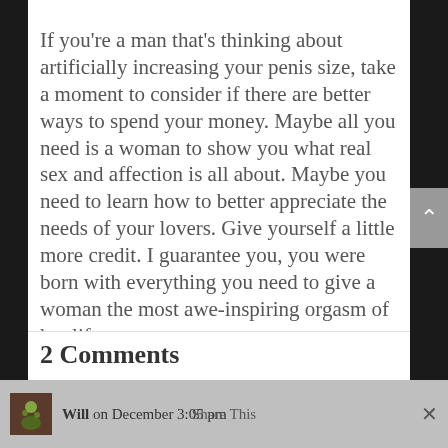If you're a man that's thinking about artificially increasing your penis size, take a moment to consider if there are better ways to spend your money. Maybe all you need is a woman to show you what real sex and affection is all about. Maybe you need to learn how to better appreciate the needs of your lovers. Give yourself a little more credit. I guarantee you, you were born with everything you need to give a woman the most awe-inspiring orgasm of her life.
2 Comments
Will on December [date] 3:05 pm